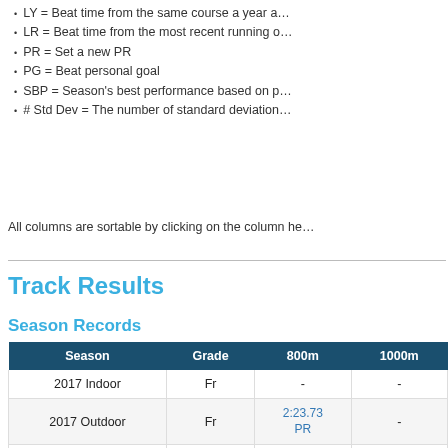LY = Beat time from the same course a year ago
LR = Beat time from the most recent running of
PR = Set a new PR
PG = Beat personal goal
SBP = Season's best performance based on p
# Std Dev = The number of standard deviation
All columns are sortable by clicking on the column he
Track Results
Season Records
| Season | Grade | 800m | 1000m |
| --- | --- | --- | --- |
| 2017 Indoor | Fr | - | - |
| 2017 Outdoor | Fr | 2:23.73 PR | - |
| 2018 Indoor | So | - | 3:02.99 PR |
| 2018 Outdoor | So | - | - |
| 2019 Indoor | Jr | - | - |
| 2019 Outdoor | Jr | - | - |
| 2020 Indoor | Sr | - | - |